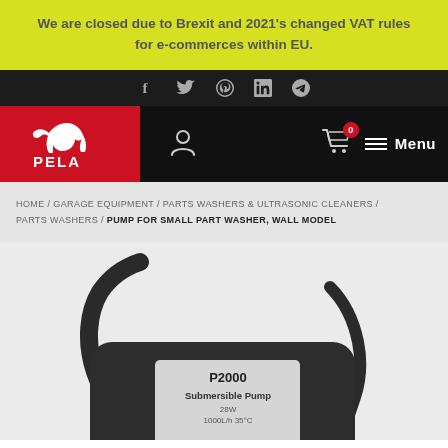We are closed due to Brexit and 2021's changed VAT rules for e-commerces within EU.
[Figure (screenshot): Social media icons: Facebook, Twitter, Pinterest, LinkedIn, Telegram]
[Figure (logo): PELA TOOLS logo - red background with white horse head and text]
HOME / GARAGE EQUIPMENT / PARTS WASHERS & ULTRASONIC CLEANERS / PARTS WASHERS / PUMP FOR SMALL PART WASHER, WALL MODEL
[Figure (photo): Product photo of a pump labeled P2000, Submersible Pump, 28W, 1000L/h, 35C, shown from above against grey background]